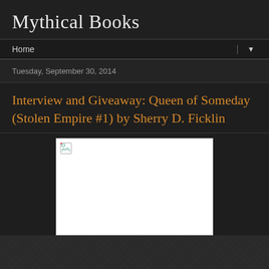Mythical Books
Home ▼
Tuesday, September 30, 2014
Interview and Giveaway: Queen of Someday (Stolen Empire #1) by Sherry D. Ficklin
[Figure (photo): Broken image placeholder — white rectangle with broken image icon in top-left corner]